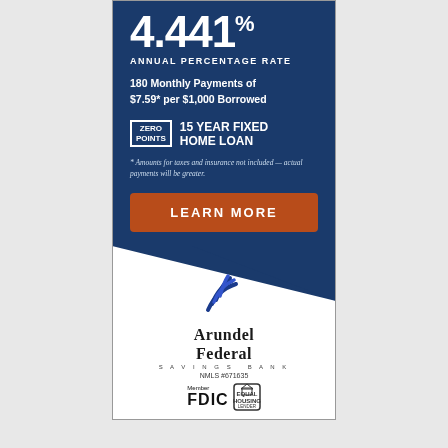4.441%
ANNUAL PERCENTAGE RATE
180 Monthly Payments of $7.59* per $1,000 Borrowed
ZERO POINTS  15 YEAR FIXED HOME LOAN
* Amounts for taxes and insurance not included — actual payments will be greater.
LEARN MORE
[Figure (logo): Arundel Federal Savings Bank logo with stylized blue wave/chevron mark]
Arundel Federal
SAVINGS BANK
NMLS #671635
Member FDIC Equal Housing Lender